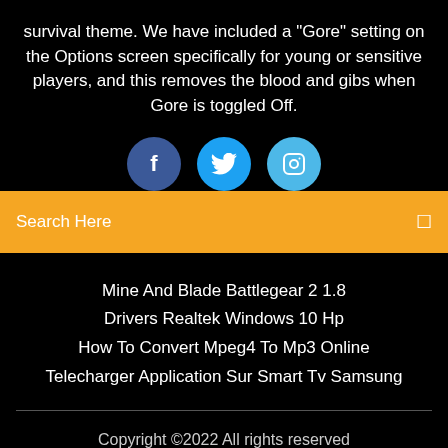survival theme. We have included a "Gore" setting on the Options screen specifically for young or sensitive players, and this removes the blood and gibs when Gore is toggled Off.
[Figure (infographic): Three social media icon circles: Facebook (dark blue), Twitter (blue), Instagram (light blue)]
Search Here
Mine And Blade Battlegear 2 1.8
Drivers Realtek Windows 10 Hp
How To Convert Mpeg4 To Mp3 Online
Telecharger Application Sur Smart Tv Samsung
Copyright ©2022 All rights reserved